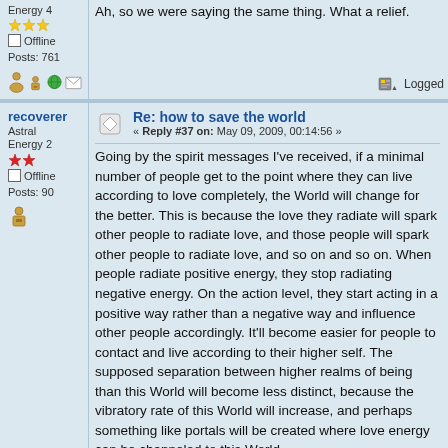Energy 4
Offline
Posts: 761
Ah, so we were saying the same thing. What a relief.
Logged
recoverer
Astral Energy 2
Offline
Posts: 90
Re: how to save the world
« Reply #37 on: May 09, 2009, 00:14:56 »
Going by the spirit messages I've received, if a minimal number of people get to the point where they can live according to love completely, the World will change for the better. This is because the love they radiate will spark other people to radiate love, and those people will spark other people to radiate love, and so on and so on. When people radiate positive energy, they stop radiating negative energy.  On the action level, they start acting in a positive way rather than a negative way and influence other people accordingly.  It'll become easier for people to contact and live according to their higher self.  The supposed separation between higher realms of being than this World will become less distinct, because the vibratory rate of this World will increase, and perhaps something like portals will be created where love energy can be channeled to this World.